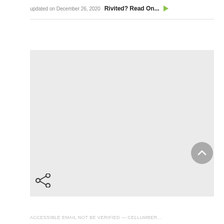updated on December 26, 2020  Rivited? Read On...  ▶
[Figure (other): Large light gray placeholder rectangle representing an advertisement or embedded content area]
[Figure (other): Share icon (network/share nodes) in the bottom-left of the gray box]
[Figure (other): Scroll-to-top circular button with upward chevron, gray, overlapping the right side of the gray box]
ACCESSIBLE EMAIL NOT BE VERIFIED — CELLUMBER...